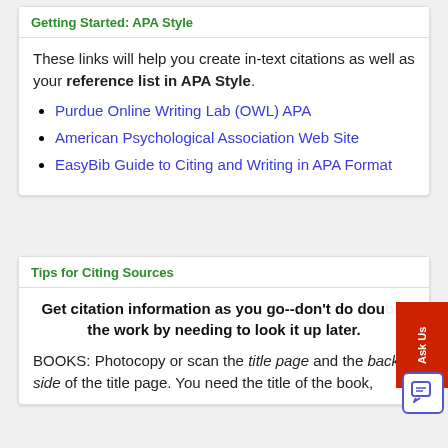Getting Started: APA Style
These links will help you create in-text citations as well as your reference list in APA Style.
Purdue Online Writing Lab (OWL) APA
American Psychological Association Web Site
EasyBib Guide to Citing and Writing in APA Format
Tips for Citing Sources
Get citation information as you go--don't do double the work by needing to look it up later.
BOOKS: Photocopy or scan the title page and the back side of the title page. You need the title of the book,